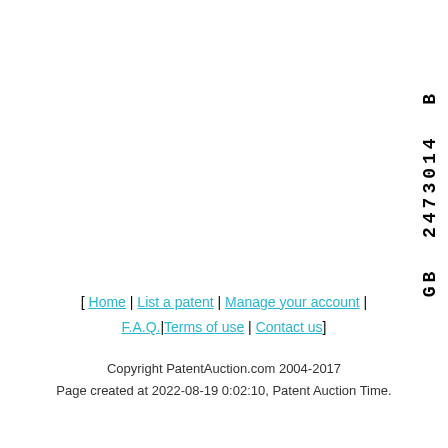GB 2473014 B
[ Home | List a patent | Manage your account | F.A.Q.|Terms of use | Contact us]
Copyright PatentAuction.com 2004-2017
Page created at 2022-08-19 0:02:10, Patent Auction Time.